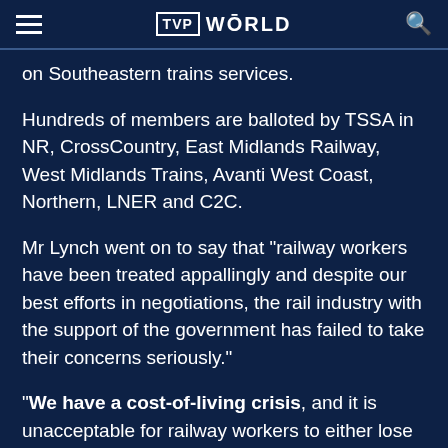TVP WORLD
on Southeastern trains services.
Hundreds of members are balloted by TSSA in NR, CrossCountry, East Midlands Railway, West Midlands Trains, Avanti West Coast, Northern, LNER and C2C.
Mr Lynch went on to say that "railway workers have been treated appallingly and despite our best efforts in negotiations, the rail industry with the support of the government has failed to take their concerns seriously."
"We have a cost-of-living crisis, and it is unacceptable for railway workers to either lose their jobs or face another year of a pay freeze when inflation is at 11 pc and rising," he said